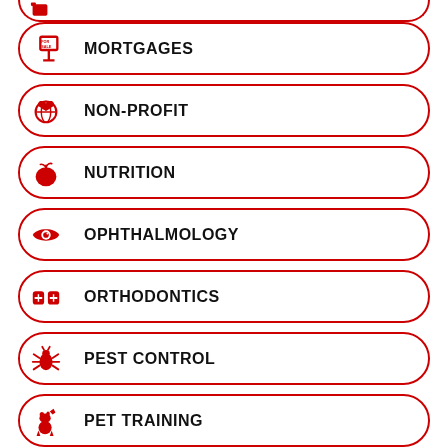MORTGAGES
NON-PROFIT
NUTRITION
OPHTHALMOLOGY
ORTHODONTICS
PEST CONTROL
PET TRAINING